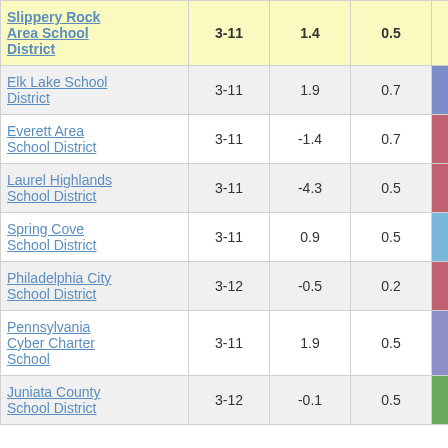| School District | Grades | Col3 | Col4 | Score |
| --- | --- | --- | --- | --- |
| Slippery Rock Area School District | 3-11 | 1.4 | 0.5 | 2.68 |
| Elk Lake School District | 3-11 | 1.9 | 0.7 | 2.92 |
| Everett Area School District | 3-11 | -1.4 | 0.7 | -2.14 |
| Laurel Highlands School District | 3-11 | -4.3 | 0.5 | -8.68 |
| Spring Cove School District | 3-11 | 0.9 | 0.5 | 1.67 |
| Philadelphia City School District | 3-12 | -0.5 | 0.2 | -2.89 |
| Pennsylvania Cyber Charter School | 3-11 | 1.9 | 0.5 | 3.93 |
| Juniata County School District | 3-12 | -0.1 | 0.5 | -0.28 |